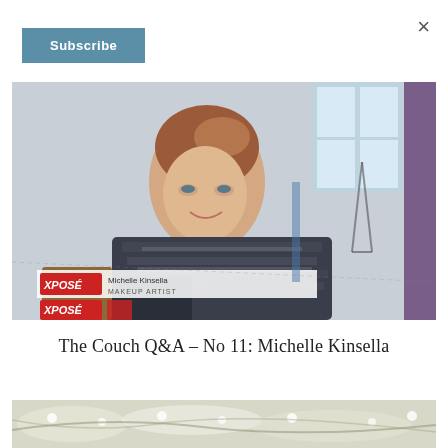×
Subscribe
[Figure (photo): A woman with reddish-brown hair in an updo, wearing a dark patterned scarf, appearing on a TV screen or monitor. A lower-third graphic reads 'XPOSÉ Michelle Kinsella MAKEUP ARTIST' with an additional XPOSÉ logo partially visible at the bottom. Background shows a bright indoor space.]
The Couch Q&A – No 11: Michelle Kinsella
[Figure (photo): Partial view of a second image at the bottom of the page showing what appears to be white flowers or foliage.]